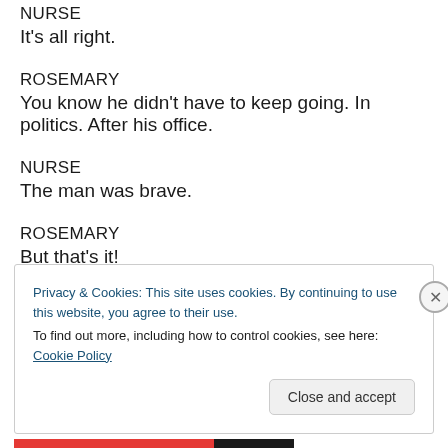NURSE
It's all right.
ROSEMARY
You know he didn't have to keep going. In politics. After his office.
NURSE
The man was brave.
ROSEMARY
But that's it!
Privacy & Cookies: This site uses cookies. By continuing to use this website, you agree to their use. To find out more, including how to control cookies, see here: Cookie Policy